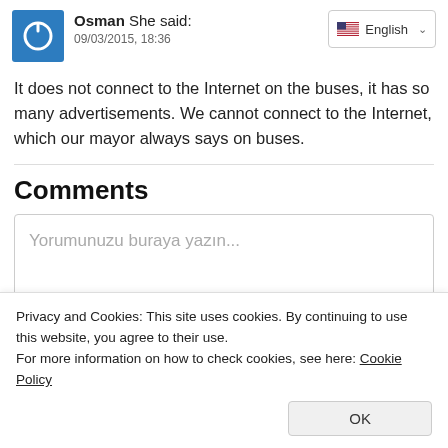Osman She said: 09/03/2015, 18:36
It does not connect to the Internet on the buses, it has so many advertisements. We cannot connect to the Internet, which our mayor always says on buses.
Comments
Yorumunuzu buraya yazın...
Privacy and Cookies: This site uses cookies. By continuing to use this website, you agree to their use.
For more information on how to check cookies, see here: Cookie Policy